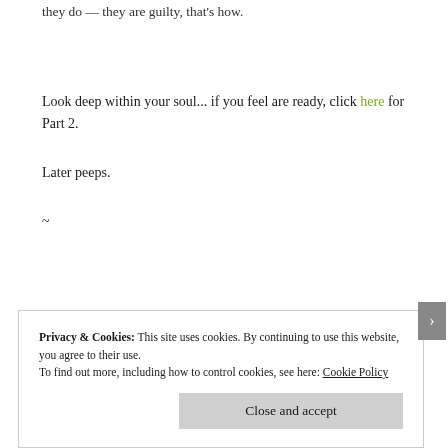they do — they are guilty, that's how.
Look deep within your soul... if you feel are ready, click here for Part 2.
Later peeps.
~
Privacy & Cookies: This site uses cookies. By continuing to use this website, you agree to their use. To find out more, including how to control cookies, see here: Cookie Policy